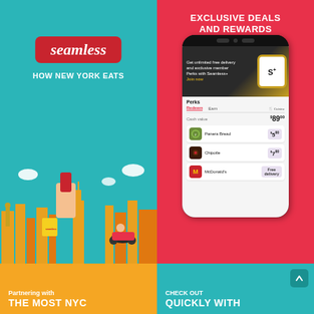[Figure (screenshot): Seamless app promotional image - teal background with Seamless logo in red, 'HOW NEW YORK EATS' text, illustrated NYC skyline with delivery person, hand holding bowl]
[Figure (screenshot): Seamless app screenshot on phone showing 'EXCLUSIVE DEALS AND REWARDS' header in red, Seamless+ membership banner, Perks section with Panera Bread $5, Chipotle $7, McDonald's Free delivery]
[Figure (screenshot): Bottom-left gold tile with 'Partnering with THE MOST NYC' text]
[Figure (screenshot): Bottom-right teal tile with 'CHECK OUT QUICKLY WITH' text and scroll-to-top button]